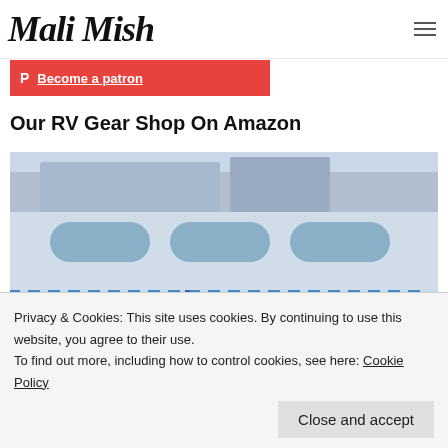Mali Mish
[Figure (screenshot): Red Patreon button with text 'Become a patron']
Our RV Gear Shop On Amazon
[Figure (photo): Photo of an RV with blue and white striped awning, people visible below]
Privacy & Cookies: This site uses cookies. By continuing to use this website, you agree to their use.
To find out more, including how to control cookies, see here: Cookie Policy
Close and accept